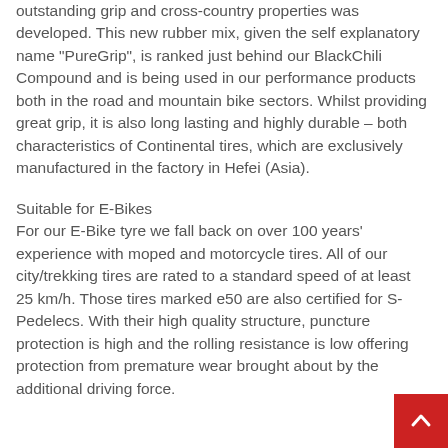outstanding grip and cross-country properties was developed. This new rubber mix, given the self explanatory name "PureGrip", is ranked just behind our BlackChili Compound and is being used in our performance products both in the road and mountain bike sectors. Whilst providing great grip, it is also long lasting and highly durable – both characteristics of Continental tires, which are exclusively manufactured in the factory in Hefei (Asia).
Suitable for E-Bikes
For our E-Bike tyre we fall back on over 100 years' experience with moped and motorcycle tires. All of our city/trekking tires are rated to a standard speed of at least 25 km/h. Those tires marked e50 are also certified for S-Pedelecs. With their high quality structure, puncture protection is high and the rolling resistance is low offering protection from premature wear brought about by the additional driving force.